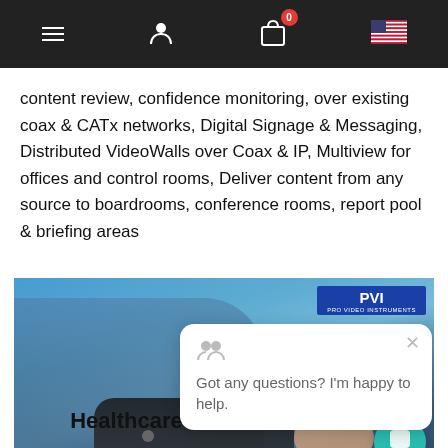Navigation bar with menu, user, cart (0), and flag icons
content review, confidence monitoring, over existing coax & CATx networks, Digital Signage & Messaging, Distributed VideoWalls over Coax & IP, Multiview for offices and control rooms, Deliver content from any source to boardrooms, conference rooms, report pool & briefing areas
[Figure (photo): Person using a remote control / tablet device, with PVI logo in top right corner and a chat popup overlay saying 'Got any questions? I'm happy to help.' with a close button]
Healthcare Video Distribution